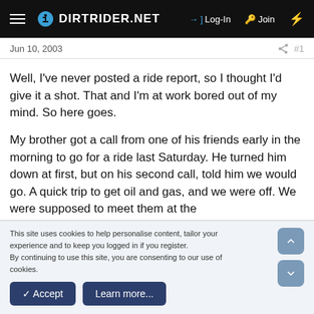DIRTRIDER.NET  →] Log-In  🔑 Join  ⚡
Jun 10, 2003   #1
Well, I've never posted a ride report, so I thought I'd give it a shot. That and I'm at work bored out of my mind. So here goes.
My brother got a call from one of his friends early in the morning to go for a ride last Saturday. He turned him down at first, but on his second call, told him we would go. A quick trip to get oil and gas, and we were off. We were supposed to meet them at the campground/parking lot at the bottom of the
This site uses cookies to help personalise content, tailor your experience and to keep you logged in if you register.
By continuing to use this site, you are consenting to our use of cookies.